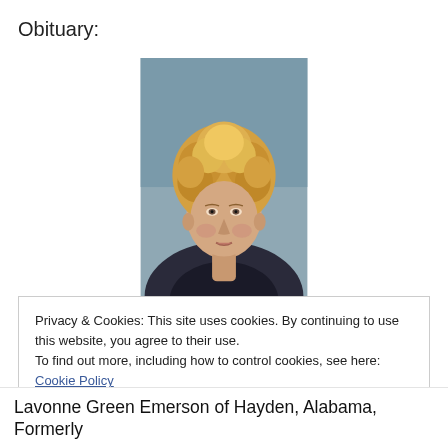Obituary:
[Figure (photo): Portrait photo of an older woman with curly blonde hair, wearing a dark jacket with a pink top, photographed against a grey-blue background.]
Privacy & Cookies: This site uses cookies. By continuing to use this website, you agree to their use.
To find out more, including how to control cookies, see here: Cookie Policy
Close and accept
Lavonne Green Emerson of Hayden, Alabama, Formerly